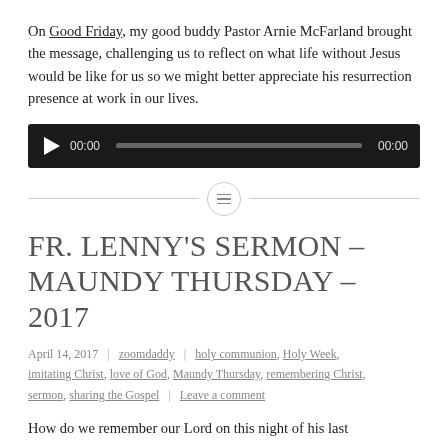On Good Friday, my good buddy Pastor Arnie McFarland brought the message, challenging us to reflect on what life without Jesus would be like for us so we might better appreciate his resurrection presence at work in our lives.
[Figure (other): Audio player widget with play button, timestamps 00:00 and 00:00, and a progress bar on a dark background.]
[Figure (other): Horizontal divider with a centered circle icon containing three horizontal lines.]
FR. LENNY'S SERMON – MAUNDY THURSDAY – 2017
April 14, 2017 | zoomdaddy | holy communion, Holy Week, imitating Christ, love of God, Maundy Thursday, remembering Christ, sermon, sharing the Gospel | Leave a comment
How do we remember our Lord on this night of his last